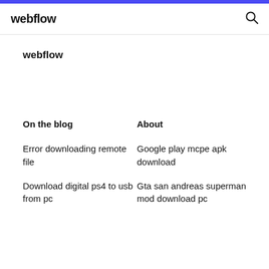webflow
webflow
On the blog
About
Error downloading remote file
Google play mcpe apk download
Download digital ps4 to usb from pc
Gta san andreas superman mod download pc